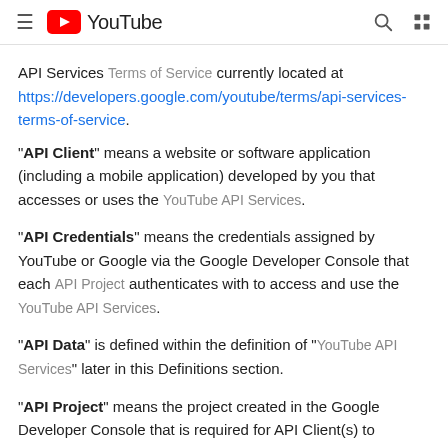YouTube
API Services Terms of Service currently located at https://developers.google.com/youtube/terms/api-services-terms-of-service.
"API Client" means a website or software application (including a mobile application) developed by you that accesses or uses the YouTube API Services.
"API Credentials" means the credentials assigned by YouTube or Google via the Google Developer Console that each API Project authenticates with to access and use the YouTube API Services.
"API Data" is defined within the definition of "YouTube API Services" later in this Definitions section.
"API Project" means the project created in the Google Developer Console that is required for API Client(s) to